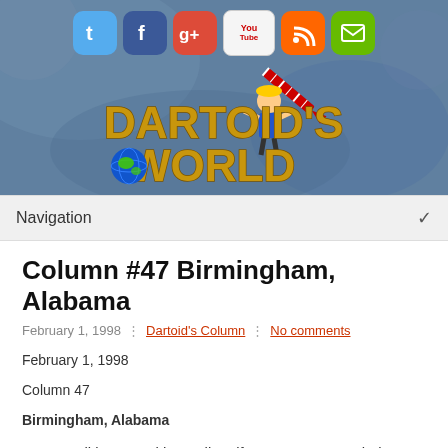[Figure (illustration): Dartoid's World website header banner with social media icons (Twitter, Facebook, Google+, YouTube, RSS, Email) and the Dartoid's World logo featuring gold text, a cartoon character throwing a dart, and a globe.]
Navigation
Column #47 Birmingham, Alabama
February 1, 1998  :  Dartoid's Column  :  No comments
February 1, 1998
Column 47
Birmingham, Alabama
Darts tradition not withstanding, if you've ever traveled to Birmingham, England you'll understand why I prefer Birmingham, Alabama.